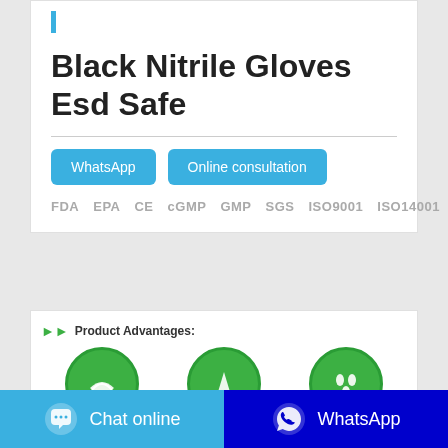Black Nitrile Gloves Esd Safe
WhatsApp
Online consultation
FDA  EPA  CE  cGMP  GMP  SGS  ISO9001  ISO14001
Product Advantages:
[Figure (infographic): Three green circular icons: High Elasticity, Thick Design, Sealed & Waterproof]
Chat online
WhatsApp